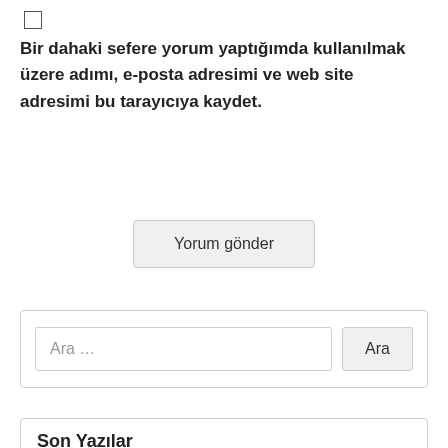[Figure (other): Checkbox (unchecked)]
Bir dahaki sefere yorum yaptığımda kullanılmak üzere adımı, e-posta adresimi ve web site adresimi bu tarayıcıya kaydet.
[Figure (other): Submit button labeled 'Yorum gönder']
[Figure (other): Search widget with text input 'Ara …' and button 'Ara']
Son Yazılar
evli komsumu kuzenimin evinde siktim